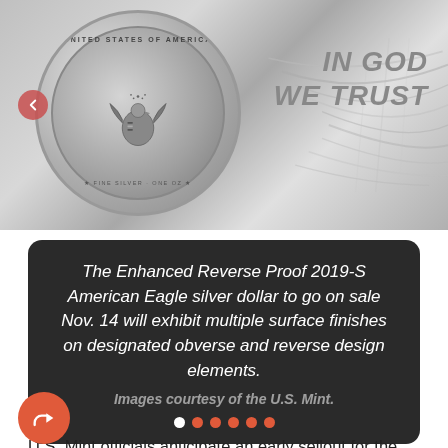[Figure (photo): American Eagle silver dollar coin showing obverse with eagle and United States of America inscription, with 'IN GOD WE TRUST' text visible in background. Silver/gray tones throughout.]
The Enhanced Reverse Proof 2019-S American Eagle silver dollar to go on sale Nov. 14 will exhibit multiple surface finishes on designated obverse and reverse design elements.
Images courtesy of the U.S. Mint.
U.S. Mint officials anticipate an early sellout for the 30,000 Enhanced Reverse Proof 2019-S American Eagle silver dollars that go on sale at noon Eastern Time Nov.